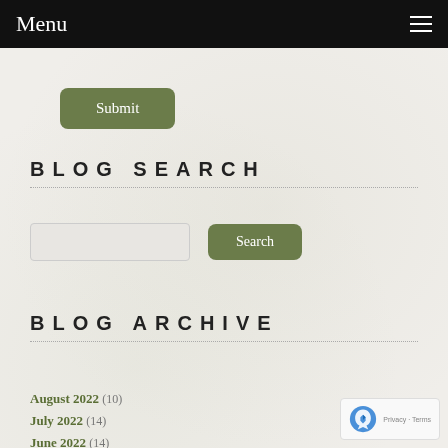Menu
Submit
BLOG SEARCH
Search
BLOG ARCHIVE
August 2022 (10)
July 2022 (14)
June 2022 (14)